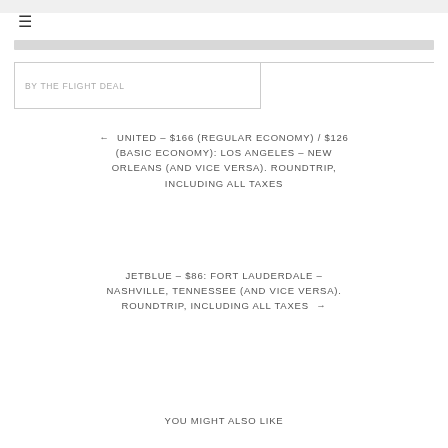≡
BY THE FLIGHT DEAL
← UNITED – $166 (REGULAR ECONOMY) / $126 (BASIC ECONOMY): LOS ANGELES – NEW ORLEANS (AND VICE VERSA). ROUNDTRIP, INCLUDING ALL TAXES
JETBLUE – $86: FORT LAUDERDALE – NASHVILLE, TENNESSEE (AND VICE VERSA). ROUNDTRIP, INCLUDING ALL TAXES →
YOU MIGHT ALSO LIKE